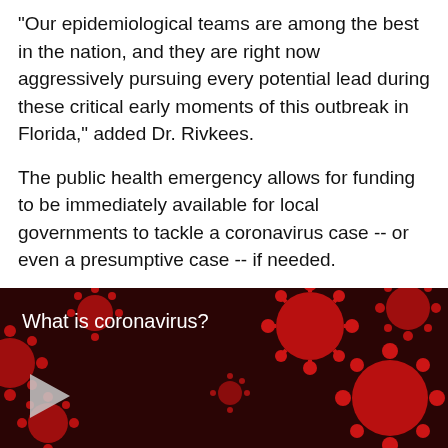"Our epidemiological teams are among the best in the nation, and they are right now aggressively pursuing every potential lead during these critical early moments of this outbreak in Florida," added Dr. Rivkees.
The public health emergency allows for funding to be immediately available for local governments to tackle a coronavirus case -- or even a presumptive case -- if needed.
[Figure (screenshot): Dark red background showing microscopic coronavirus particles (red spiky spheres) with white text overlay 'What is coronavirus?' and a play button icon in the lower left corner, indicating a video thumbnail.]